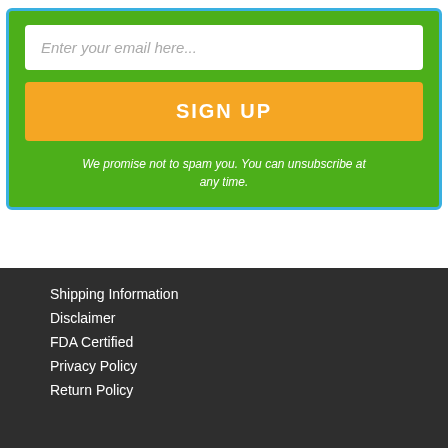Enter your email here...
SIGN UP
We promise not to spam you. You can unsubscribe at any time.
Shipping Information
Disclaimer
FDA Certified
Privacy Policy
Return Policy